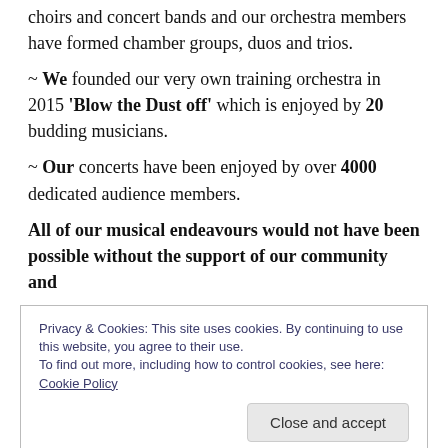choirs and concert bands and our orchestra members have formed chamber groups, duos and trios.
~ We founded our very own training orchestra in 2015 'Blow the Dust off' which is enjoyed by 20 budding musicians.
~ Our concerts have been enjoyed by over 4000 dedicated audience members.
All of our musical endeavours would not have been possible without the support of our community and
Privacy & Cookies: This site uses cookies. By continuing to use this website, you agree to their use. To find out more, including how to control cookies, see here: Cookie Policy
Close and accept
Please Stand up and Take a Bow!